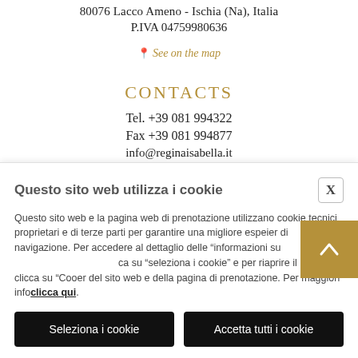80076 Lacco Ameno - Ischia (Na), Italia
P.IVA 04759980636
📍 See on the map
CONTACTS
Tel. +39 081 994322
Fax +39 081 994877
info@reginaisabella.it
Questo sito web utilizza i cookie
Questo sito web e la pagina web di prenotazione utilizzano cookie tecnici proprietari e di terze parti per garantire una migliore esperienza di navigazione. Per accedere al dettaglio delle "informazioni sui cookie" clicca su "seleziona i cookie" e per riaprire il banner, clicca su "Cookie Policy" del sito web e della pagina di prenotazione. Per maggiori informazioni clicca qui.
Seleziona i cookie
Accetta tutti i cookie